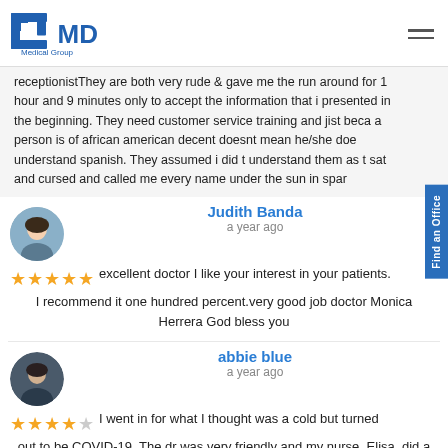CMD Medical Group
receptionistThey are both very rude & gave me the run around for 1 hour and 9 minutes only to accept the information that i presented in the beginning. They need customer service training and jist beca a person is of african american decent doesnt mean he/she doe understand spanish. They assumed i did t understand them as t sat and cursed and called me every name under the sun in spar
Judith Banda
a year ago
excellent doctor I like your interest in your patients.  I recommend it one hundred percent.very good job doctor Monica Herrera God bless you
abbie blue
a year ago
I went in for what I thought was a cold but turned out to be COVID-19. The dr was very friendly and my nurse, Elisa, did a great job at explaining information to me! Would definitely recommend!